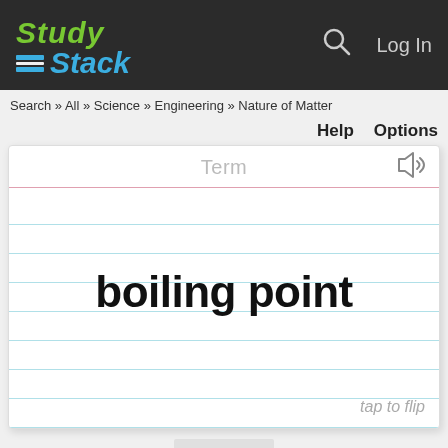StudyStack — Log In
Search » All » Science » Engineering » Nature of Matter
Help   Options
[Figure (screenshot): Flashcard showing term 'boiling point' on a lined index card with 'Term' label at top and 'tap to flip' at bottom right]
tap to flip